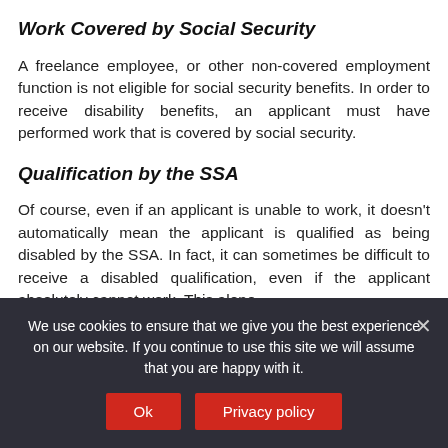Work Covered by Social Security
A freelance employee, or other non-covered employment function is not eligible for social security benefits. In order to receive disability benefits, an applicant must have performed work that is covered by social security.
Qualification by the SSA
Of course, even if an applicant is unable to work, it doesn't automatically mean the applicant is qualified as being disabled by the SSA. In fact, it can sometimes be difficult to receive a disabled qualification, even if the applicant absolutely cannot work. This alone
We use cookies to ensure that we give you the best experience on our website. If you continue to use this site we will assume that you are happy with it.